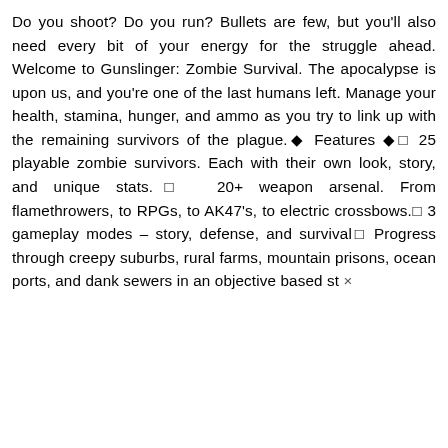Do you shoot? Do you run? Bullets are few, but you'll also need every bit of your energy for the struggle ahead. Welcome to Gunslinger: Zombie Survival. The apocalypse is upon us, and you're one of the last humans left. Manage your health, stamina, hunger, and ammo as you try to link up with the remaining survivors of the plague.◆ Features ◆◻ 25 playable zombie survivors. Each with their own look, story, and unique stats.◻ 20+ weapon arsenal. From flamethrowers, to RPGs, to AK47's, to electric crossbows.◻ 3 gameplay modes – story, defense, and survival◻ Progress through creepy suburbs, rural farms, mountain prisons, ocean ports, and dank sewers in an objective based st ×